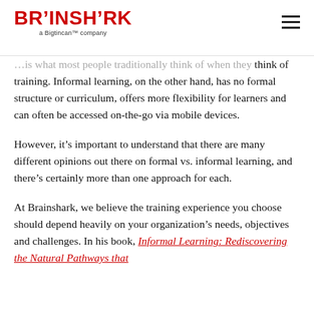BRAINSHARK a Bigtincan™ company
…is what most people traditionally think of when they think of training. Informal learning, on the other hand, has no formal structure or curriculum, offers more flexibility for learners and can often be accessed on-the-go via mobile devices.
However, it's important to understand that there are many different opinions out there on formal vs. informal learning, and there's certainly more than one approach for each.
At Brainshark, we believe the training experience you choose should depend heavily on your organization's needs, objectives and challenges. In his book, Informal Learning: Rediscovering the Natural Pathways that…